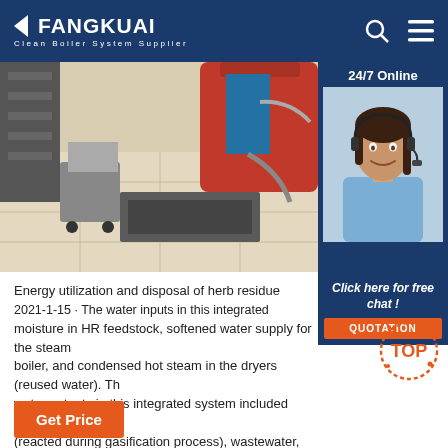FANGKUAI Clean Boiler System Supplier
[Figure (photo): Industrial boiler room with red boiler equipment, pipes, and reflective tiled floor]
[Figure (photo): 24/7 Online chat support agent - woman wearing headset smiling]
Click here for free chat !
QUOTATION
Energy utilization and disposal of herb residue 2021-1-15 · The water inputs in this integrated moisture in HR feedstock, softened water supply for the steam boiler, and condensed hot steam in the dryers (reused water). The water outputs in this integrated system included consumed water (reacted during gasification process), wastewater, and reusable water (reused in the steam boiler).
Get Price